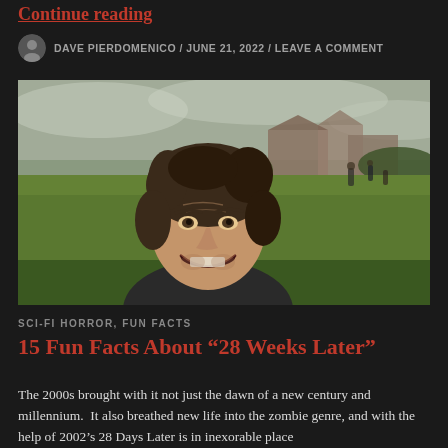Continue reading
DAVE PIERDOMENICO / JUNE 21, 2022 / LEAVE A COMMENT
[Figure (photo): A man with messy hair smiling broadly outdoors on a green field; blurred figures running in the background near buildings; overcast sky. Scene from the movie 28 Weeks Later.]
SCI-FI HORROR, FUN FACTS
15 Fun Facts About “28 Weeks Later”
The 2000s brought with it not just the dawn of a new century and millennium.  It also breathed new life into the zombie genre, and with the help of 2002’s 28 Days Later is in inexorable place